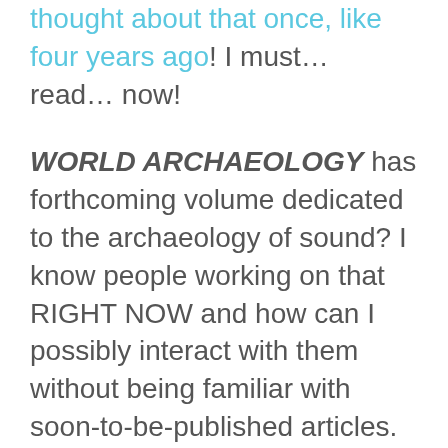thought about that once, like four years ago! I must… read… now!
WORLD ARCHAEOLOGY has forthcoming volume dedicated to the archaeology of sound? I know people working on that RIGHT NOW and how can I possibly interact with them without being familiar with soon-to-be-published articles. More than that, I'm an audiophile and I need to understand the archaeology of connectors. And I've done archaeology of the contemporary world (forthcoming) so I must understand what was albums were found on the floor of a commune where the Grateful Dead once live.